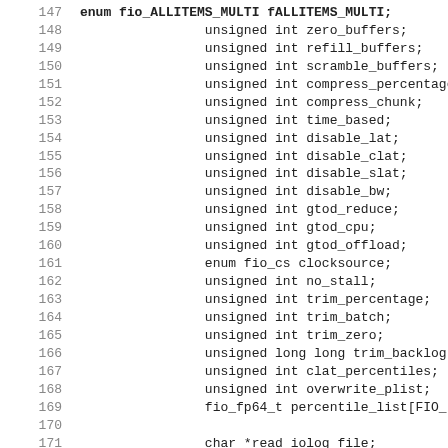Source code listing lines 147-179 showing C struct field declarations including unsigned int and char pointer fields, and the beginning of a comment block.